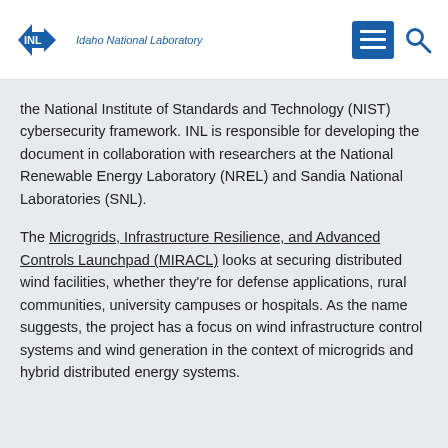INL Idaho National Laboratory
the National Institute of Standards and Technology (NIST) cybersecurity framework. INL is responsible for developing the document in collaboration with researchers at the National Renewable Energy Laboratory (NREL) and Sandia National Laboratories (SNL).
The Microgrids, Infrastructure Resilience, and Advanced Controls Launchpad (MIRACL) looks at securing distributed wind facilities, whether they're for defense applications, rural communities, university campuses or hospitals. As the name suggests, the project has a focus on wind infrastructure control systems and wind generation in the context of microgrids and hybrid distributed energy systems.